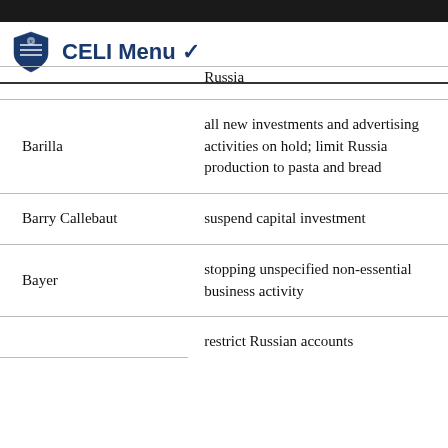CELI Menu
| Company | Action |
| --- | --- |
|  | Russia |
| Barilla | all new investments and advertising activities on hold; limit Russia production to pasta and bread |
| Barry Callebaut | suspend capital investment |
| Bayer | stopping unspecified non-essential business activity |
|  | restrict Russian accounts |